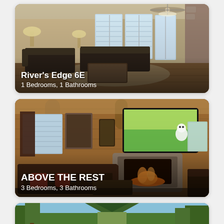[Figure (photo): Interior photo of a living room with dark leather sofas, coffee table, ceiling fan, large windows with blinds, and a stone fireplace on the right. Card labeled River's Edge 6E, 1 Bedrooms, 1 Bathrooms.]
[Figure (photo): Interior photo of a log cabin living room with wood walls, a large flat-screen TV showing an animated character (Olaf), a stone fireplace, dark leather couch, and wooden decor. Card labeled ABOVE THE REST, 3 Bedrooms, 3 Bathrooms.]
[Figure (photo): Partial photo of a cabin exterior surrounded by trees, partially cut off at the bottom of the page.]